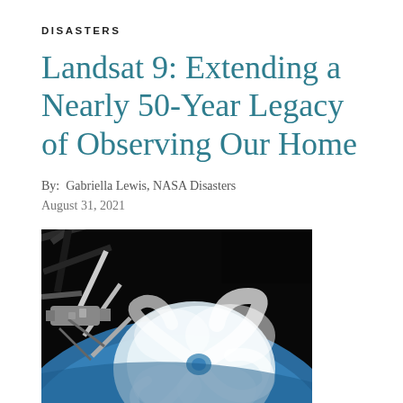DISASTERS
Landsat 9: Extending a Nearly 50-Year Legacy of Observing Our Home
By:  Gabriella Lewis, NASA Disasters
August 31, 2021
[Figure (photo): Photo taken from the International Space Station showing robotic arm structure in foreground against the backdrop of a large hurricane swirling over Earth's blue surface.]